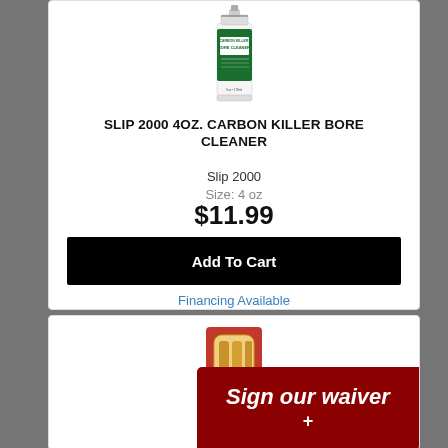[Figure (photo): Slip 2000 4oz Carbon Killer Bore Cleaner spray can product image]
SLIP 2000 4OZ. CARBON KILLER BORE CLEANER
Slip 2000
Size: 4 oz
$11.99
Add To Cart
Financing Available
[Figure (photo): Second product image partially visible at bottom of page]
Sign our waiver +